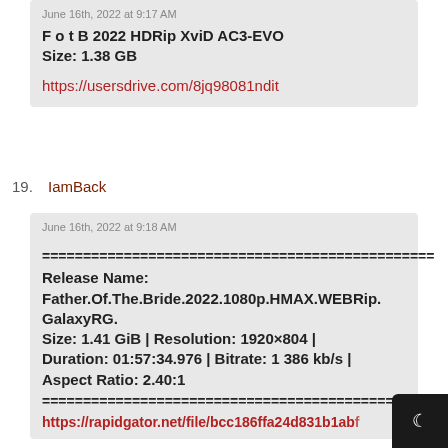June 16th, 2022 at 9:17 AM
F o t B 2022 HDRip XviD AC3-EVO
Size: 1.38 GB
https://usersdrive.com/8jq98081ndit
19. IamBack
June 16th, 2022 at 9:18 AM
========================================
Release Name:
Father.Of.The.Bride.2022.1080p.HMAX.WEBRip.GalaxyRG.
Size: 1.41 GiB | Resolution: 1920×804 | Duration: 01:57:34.976 | Bitrate: 1 386 kb/s | Aspect Ratio: 2.40:1
========================================
https://rapidgator.net/file/bcc186ffa24d831b1abf